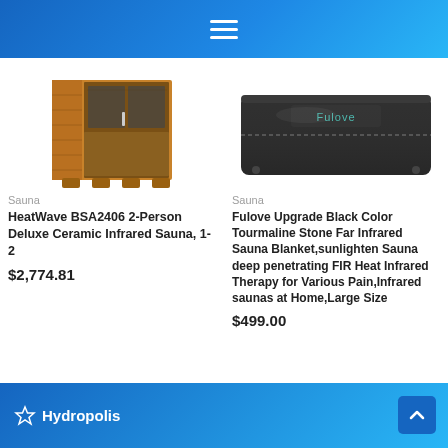[Figure (screenshot): App header bar with hamburger menu icon on blue gradient background]
[Figure (photo): HeatWave BSA2406 2-Person Deluxe Ceramic Infrared Sauna product image - wooden sauna cabinet]
Sauna
HeatWave BSA2406 2-Person Deluxe Ceramic Infrared Sauna, 1-2
$2,774.81
[Figure (photo): Fulove black sauna blanket product image folded flat]
Sauna
Fulove Upgrade Black Color Tourmaline Stone Far Infrared Sauna Blanket,sunlighten Sauna deep penetrating FIR Heat Infrared Therapy for Various Pain,Infrared saunas at Home,Large Size
$499.00
Hydropolis